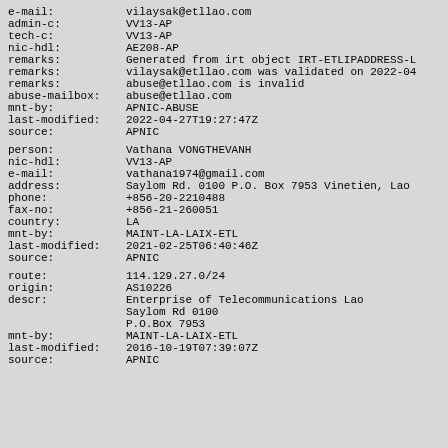e-mail: vilaysak@etllao.com
admin-c: VV13-AP
tech-c: VV13-AP
nic-hdl: AE208-AP
remarks: Generated from irt object IRT-ETLIPADDRESS-L
remarks: vilaysak@etllao.com was validated on 2022-04
remarks: abuse@etllao.com is invalid
abuse-mailbox: abuse@etllao.com
mnt-by: APNIC-ABUSE
last-modified: 2022-04-27T19:27:47Z
source: APNIC
person: Vathana VONGTHEVANH
nic-hdl: VV13-AP
e-mail: vathana1974@gmail.com
address: Saylom Rd. 0100 P.O. Box 7953 Vinetien, Lao
phone: +856-20-2210488
fax-no: +856-21-260051
country: LA
mnt-by: MAINT-LA-LAIX-ETL
last-modified: 2021-02-25T06:40:46Z
source: APNIC
route: 114.129.27.0/24
origin: AS10226
descr: Enterprise of Telecommunications Lao
       Saylom Rd 0100
       P.O.Box 7953
mnt-by: MAINT-LA-LAIX-ETL
last-modified: 2016-10-19T07:39:07Z
source: APNIC